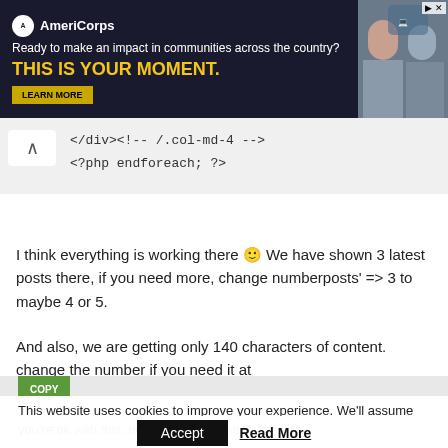[Figure (screenshot): AmeriCorps advertisement banner: dark navy background with AmeriCorps logo, text 'Ready to make an impact in communities across the country? THIS IS YOUR MOMENT.' with LEARN MORE button, and a photo of people on the right.]
</div><!-- /.col-md-4 -->
<?php endforeach; ?>
I think everything is working there 🙂 We have shown 3 latest posts there, if you need more, change numberposts' => 3 to maybe 4 or 5.
And also, we are getting only 140 characters of content. change the number if you need it at
COPY
This website uses cookies to improve your experience. We'll assume you're ok with this, but you can opt-out if you wish.
Accept  Read More